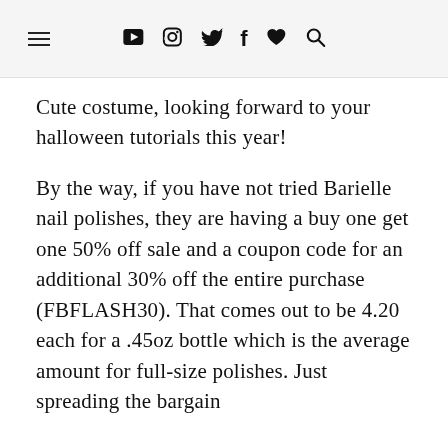≡ ▶ 📷 🐦 f ♥ 🔍
Cute costume, looking forward to your halloween tutorials this year!
By the way, if you have not tried Barielle nail polishes, they are having a buy one get one 50% off sale and a coupon code for an additional 30% off the entire purchase (FBFLASH30). That comes out to be 4.20 each for a .45oz bottle which is the average amount for full-size polishes. Just spreading the bargain